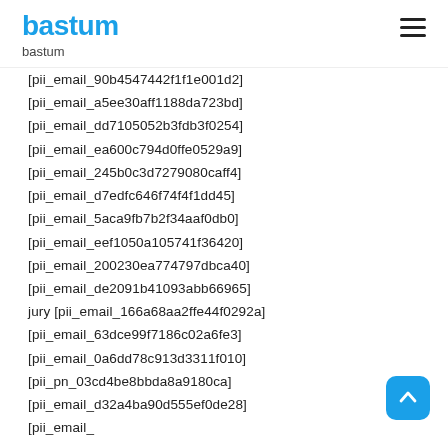bastum
bastum
[pii_email_90b4547442f1f1e001d2]
[pii_email_a5ee30aff1188da723bd]
[pii_email_dd7105052b3fdb3f0254]
[pii_email_ea600c794d0ffe0529a9]
[pii_email_245b0c3d7279080caff4]
[pii_email_d7edfc646f74f4f1dd45]
[pii_email_5aca9fb7b2f34aaf0db0]
[pii_email_eef1050a105741f36420]
[pii_email_200230ea774797dbca40]
[pii_email_de2091b41093abb66965]
jury [pii_email_166a68aa2ffe44f0292a]
[pii_email_63dce99f7186c02a6fe3]
[pii_email_0a6dd78c913d3311f010]
[pii_pn_03cd4be8bbda8a9180ca]
[pii_email_d32a4ba90d555ef0de28]